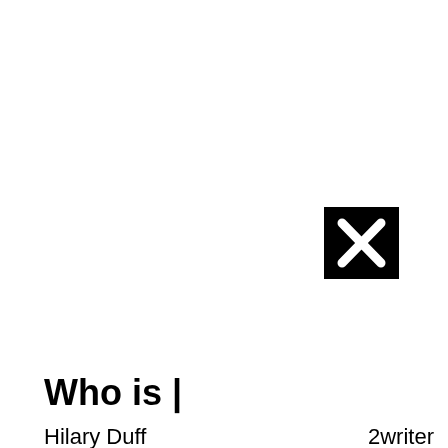[Figure (other): A black square with a white X (close/delete button icon) positioned in the upper-right area of the page]
Who is |
Hilary Duff
2writer